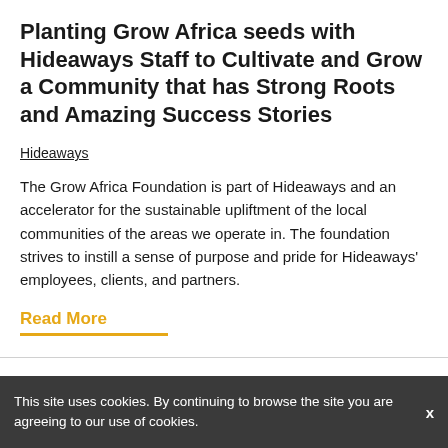Planting Grow Africa seeds with Hideaways Staff to Cultivate and Grow a Community that has Strong Roots and Amazing Success Stories
Hideaways
The Grow Africa Foundation is part of Hideaways and an accelerator for the sustainable upliftment of the local communities of the areas we operate in. The foundation strives to instill a sense of purpose and pride for Hideaways' employees, clients, and partners.
Read More
This site uses cookies. By continuing to browse the site you are agreeing to our use of cookies.